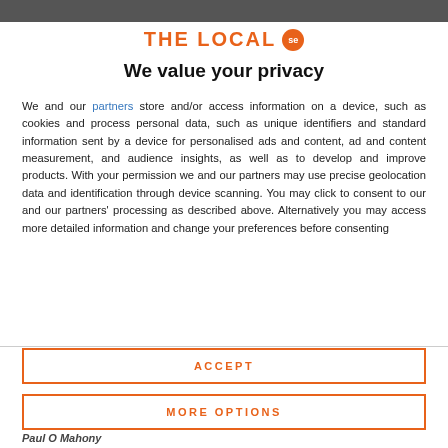THE LOCAL se
We value your privacy
We and our partners store and/or access information on a device, such as cookies and process personal data, such as unique identifiers and standard information sent by a device for personalised ads and content, ad and content measurement, and audience insights, as well as to develop and improve products. With your permission we and our partners may use precise geolocation data and identification through device scanning. You may click to consent to our and our partners' processing as described above. Alternatively you may access more detailed information and change your preferences before consenting
ACCEPT
MORE OPTIONS
Paul O Mahony